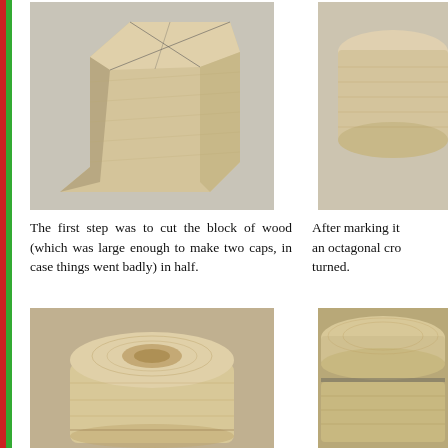[Figure (photo): A block of wood with octagonal markings cut in half, showing grain, viewed from above at an angle. Light wood, gray background.]
[Figure (photo): Partial view of a turned wooden cap with octagonal cross-section, light wood, right side of page cropped.]
The first step was to cut the block of wood (which was large enough to make two caps, in case things went badly) in half.
After marking it an octagonal cro turned.
[Figure (photo): Turned wooden cap/box with visible wood grain rings and a circular recess on top, light ash wood.]
[Figure (photo): Partially visible turned wooden piece with cap separated, showing the join, light ash wood, cropped on right.]